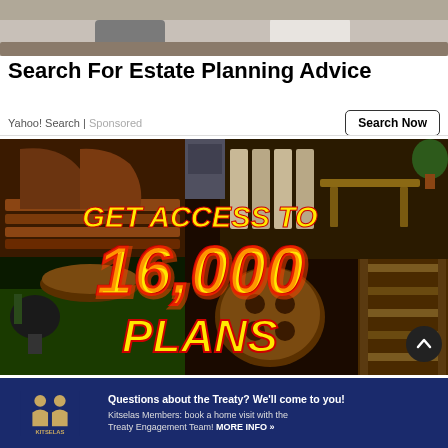[Figure (photo): Photo of two people in a consultation or meeting setting, seated on a couch]
Search For Estate Planning Advice
Yahoo! Search | Sponsored
Search Now
[Figure (photo): Woodworking advertisement image with collage of wooden furniture and outdoor projects. Text overlay reads: GET ACCESS TO 16,000 PLANS]
[Figure (photo): Kitselas Treaty banner ad. Text: Questions about the Treaty? We'll come to you! Kitselas Members: book a home visit with the Treaty Engagement Team! MORE INFO »]